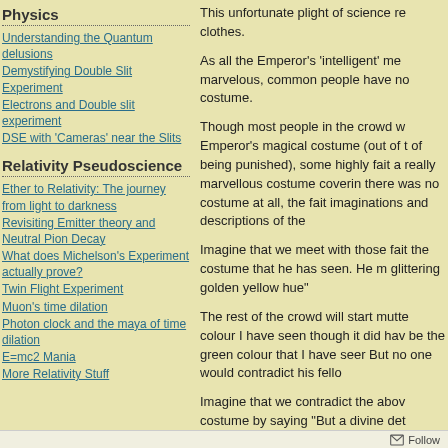Physics
Understanding the Quantum delusions
Demystifying Double Slit Experiment
Electrons and Double slit experiment
DSE with 'Cameras' near the Slits
Relativity Pseudoscience
Ether to Relativity: The journey from light to darkness
Revisiting Emitter theory and Neutral Pion Decay
What does Michelson's Experiment actually prove?
Twin Flight Experiment
Muon's time dilation
Photon clock and the maya of time dilation
E=mc2 Mania
More Relativity Stuff
This unfortunate plight of science re... clothes.
As all the Emperor's ‘intelligent’ me... marvelous, common people have no... costume.
Though most people in the crowd w... Emperor's magical costume (out of ... of being punished), some highly fait... a really marvellous costume coverin... there was no costume at all, the fait... imaginations and descriptions of the...
Imagine that we meet with those fai... the costume that he has seen. He m... glittering golden yellow hue”
The rest of the crowd will start mutte... colour I have seen though it did hav... be the green colour that I have seer... But no one would contradict his fello...
Imagine that we contradict the abov... costume by saying “But a divine det... anything of that sort on the Empero... is as accurate as the modern atomic...
Follow